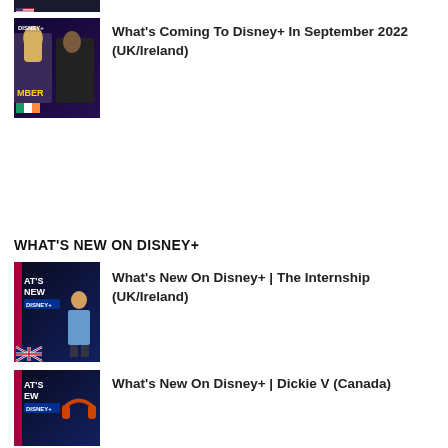[Figure (photo): Partial thumbnail at top of page showing a US flag icon at bottom-left, dark background]
[Figure (photo): Disney+ September 2022 UK/Ireland thumbnail with two people and Irish flag]
What's Coming To Disney+ In September 2022 (UK/Ireland)
WHAT'S NEW ON DISNEY+
[Figure (photo): What's New On Disney+ thumbnail with person standing and UK flag, dark background]
What's New On Disney+ | The Internship (UK/Ireland)
[Figure (photo): What's New On Disney+ thumbnail with headphones, dark background]
What's New On Disney+ | Dickie V (Canada)